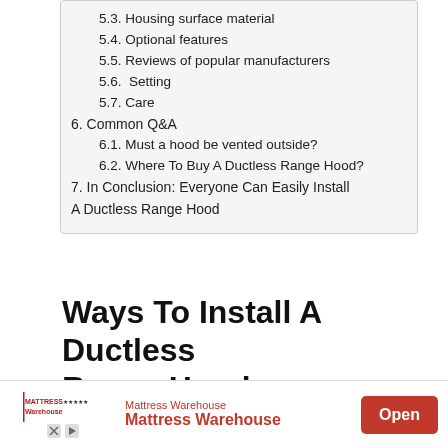5.3. Housing surface material
5.4. Optional features
5.5. Reviews of popular manufacturers
5.6.  Setting
5.7. Care
6. Common Q&A
6.1. Must a hood be vented outside?
6.2. Where To Buy A Ductless Range Hood?
7. In Conclusion: Everyone Can Easily Install A Ductless Range Hood
Ways To Install A Ductless Range Hood
Step 1: Plan ahead when installing a ductless hood
[Figure (other): Advertisement banner for Mattress Warehouse with logo, brand name text, and Open button]